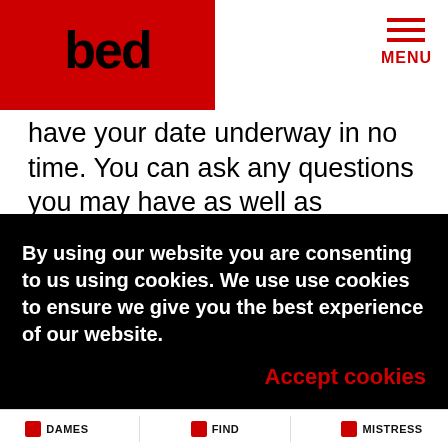bed DOMINATION ESCORTS — MENU
have your date underway in no time. You can ask any questions you may have as well as requesting any advice you require before you go to your booking, have no fear they won't take up much of your time and will keep it as discreet as you like.
The third though not really a booking option is the match maker tool we have available by clicking here or at the top of the page. This is something we have come up w... you. pref comp your
By using our website you are consenting to us using cookies. We use use cookies to ensure we give you the best experience of our website. Accept cookies
DAMES | FIND | MISTRESS